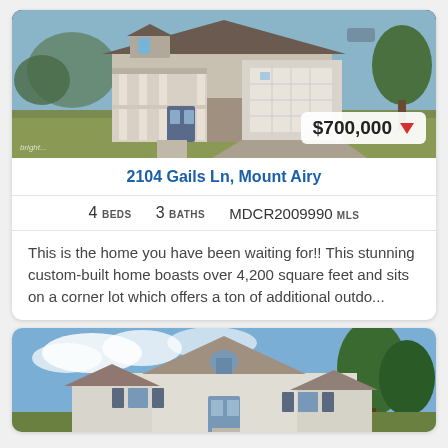[Figure (photo): Exterior photo of a two-story custom-built home with covered porch, stone accents, and two-car garage. Price badge shows $700,000 with red down arrow.]
2104 Gails Ln, Mount Airy
4 BEDS   3 BATHS   MDCR2009990 MLS
This is the home you have been waiting for!! This stunning custom-built home boasts over 4,200 square feet and sits on a corner lot which offers a ton of additional outdo...
[Figure (photo): Exterior photo of a second house listing — two-story home with peaked roof, blue shutters, and surrounding trees.]